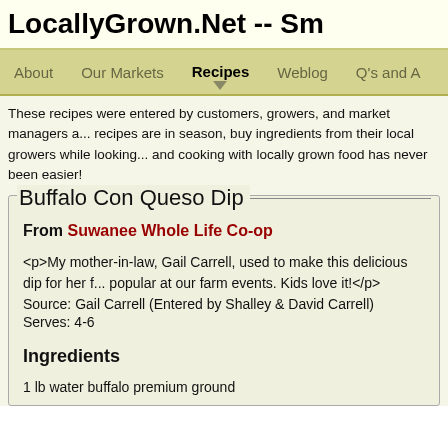LocallyGrown.Net -- Sm
About  Our Markets  Recipes  Weblog  Q's and A
These recipes were entered by customers, growers, and market managers a... recipes are in season, buy ingredients from their local growers while looking... and cooking with locally grown food has never been easier!
Buffalo Con Queso Dip
From Suwanee Whole Life Co-op
<p>My mother-in-law, Gail Carrell, used to make this delicious dip for her farm events. Kids love it!</p>
Source: Gail Carrell (Entered by Shalley & David Carrell)
Serves: 4-6
Ingredients
1 lb water buffalo premium ground